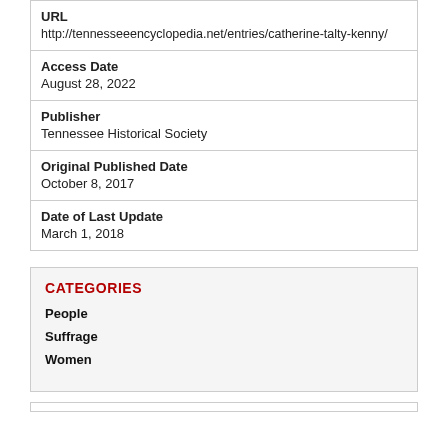| URL | http://tennesseeencyclopedia.net/entries/catherine-talty-kenny/ |
| Access Date | August 28, 2022 |
| Publisher | Tennessee Historical Society |
| Original Published Date | October 8, 2017 |
| Date of Last Update | March 1, 2018 |
CATEGORIES
People
Suffrage
Women